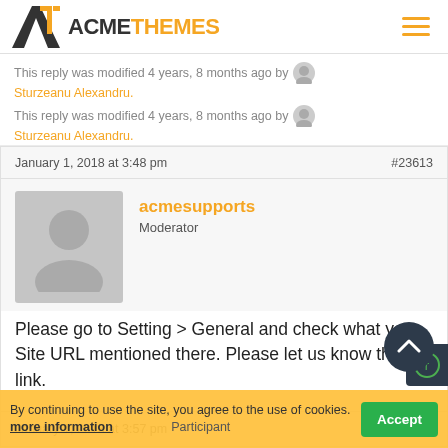[Figure (logo): AcmeThemes logo with stylized A letter mark in black and orange, and hamburger menu icon in orange on the right]
This reply was modified 4 years, 8 months ago by Sturzeanu Alexandru.
This reply was modified 4 years, 8 months ago by Sturzeanu Alexandru.
January 1, 2018 at 3:48 pm   #23613
acmesupports
Moderator
Please go to Setting > General and check what your Site URL mentioned there. Please let us know that link.
January 1, 2018 at 3:57 pm
By continuing to use the site, you agree to the use of cookies. more information   Participant
Accept